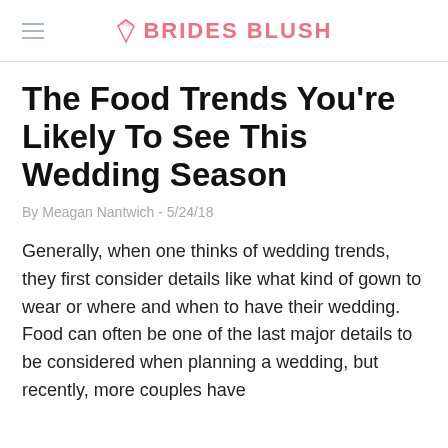BRIDES BLUSH
The Food Trends You're Likely To See This Wedding Season
By Meagan Nantwich - 5/24/18
Generally, when one thinks of wedding trends, they first consider details like what kind of gown to wear or where and when to have their wedding. Food can often be one of the last major details to be considered when planning a wedding, but recently, more couples have